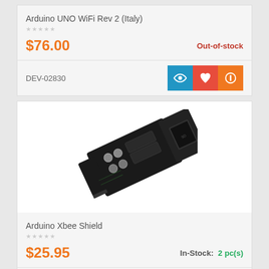Arduino UNO WiFi Rev 2 (Italy)
$76.00
Out-of-stock
DEV-02830
[Figure (photo): Photo of Arduino Xbee Shield circuit board, a small black PCB with components and connectors, shown at an angle]
Arduino Xbee Shield
$25.95
In-Stock:  2 pc(s)
DEV-01076